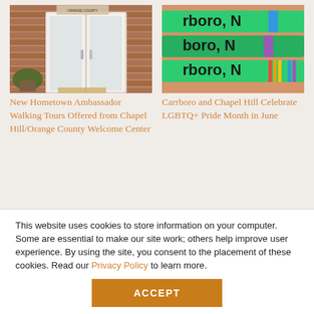[Figure (photo): Exterior photo of a welcome center with white double doors, brick facade, and potted plant]
[Figure (photo): Close-up photo of green wristbands on a wrist reading 'Carrboro, NC' with colorful stripes, LGBTQ+ pride themed]
New Hometown Ambassador Walking Tours Offered from Chapel Hill/Orange County Welcome Center
Carrboro and Chapel Hill Celebrate LGBTQ+ Pride Month in June
This website uses cookies to store information on your computer. Some are essential to make our site work; others help improve user experience. By using the site, you consent to the placement of these cookies. Read our Privacy Policy to learn more.
ACCEPT